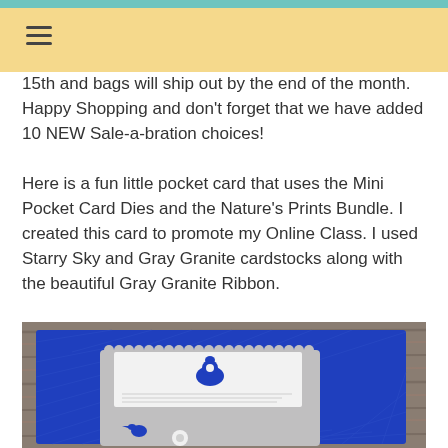≡
15th and bags will ship out by the end of the month.  Happy Shopping and don't forget that we have added 10 NEW Sale-a-bration choices!
Here is a fun little pocket card that uses the Mini Pocket Card Dies and the Nature's Prints Bundle.  I created this card to promote my Online Class.  I used Starry Sky and Gray Granite cardstocks along with the beautiful Gray Granite Ribbon.
[Figure (photo): A handmade pocket card featuring a blue (Starry Sky) cardstock background with embossed texture, a gray (Gray Granite) scallop-edged pocket card with a white card insert, and blue decorative elements including a vase and bird motif, placed on a gray wood-grain surface.]